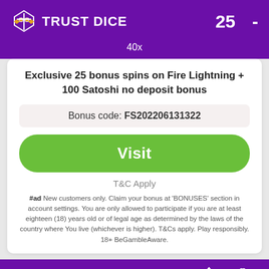[Figure (logo): Trust Dice logo with scales icon and text, white on purple background, with number 25 and dash, and 40x wagering text below]
Exclusive 25 bonus spins on Fire Lightning + 100 Satoshi no deposit bonus
Bonus code: FS202206131322
Visit
T&C Apply
#ad New customers only. Claim your bonus at 'BONUSES' section in account settings. You are only allowed to participate if you are at least eighteen (18) years old or of legal age as determined by the laws of the country where You live (whichever is higher). T&Cs apply. Play responsibly. 18+ BeGambleAware.
[Figure (logo): Trust Dice logo with scales icon and text, white on purple background, with number 25 and dash, and icons above]